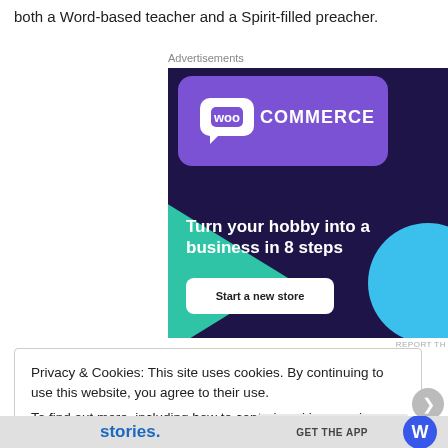both a Word-based teacher and a Spirit-filled preacher.
Advertisements
[Figure (illustration): WooCommerce advertisement banner with dark navy background, purple card with WooCommerce logo, green triangle, blue circle, white headline text 'Turn your hobby into a business in 8 steps', and a white 'Start a new store' button.]
Privacy & Cookies: This site uses cookies. By continuing to use this website, you agree to their use.
To find out more, including how to control cookies, see here: Cookie Policy
Close and accept
stories.   GET THE APP